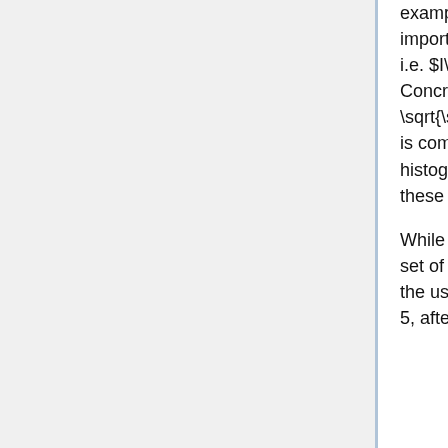example $W$, with $n = d' = 5$, where $W$ is binary (for simplicity). The importance function $I$ should score feature $f2$ higher than feature $f1$, i.e. $I_2 > I_1$, since feature f2 is used to explain more instances. Concretely for the text applications, we set $I_j = \sqrt{\sum_{i=1}^nW_{ij}}$ . For images, $I$ must measure something that is comparable across the super-pixels in different images, such as color histograms or other features of super-pixels; we leave further exploration of these ideas for future work.
While we want to pick instances that cover the important components, the set of explanations must not be redundant in the components they show the users, i.e. avoid selecting instances with similar explanations. In Figure 5, after the